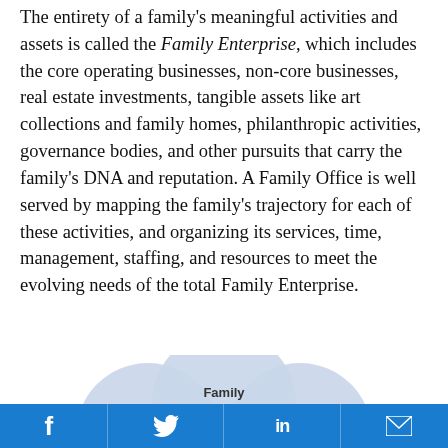The entirety of a family's meaningful activities and assets is called the Family Enterprise, which includes the core operating businesses, non-core businesses, real estate investments, tangible assets like art collections and family homes, philanthropic activities, governance bodies, and other pursuits that carry the family's DNA and reputation. A Family Office is well served by mapping the family's trajectory for each of these activities, and organizing its services, time, management, staffing, and resources to meet the evolving needs of the total Family Enterprise.
[Figure (infographic): Partial view of a circular/bubble diagram showing overlapping circles. The top center circle is labeled 'Family Company'. Two more circles are partially visible on the left and right sides.]
Social media sharing bar with Facebook, Twitter, LinkedIn, and Email icons